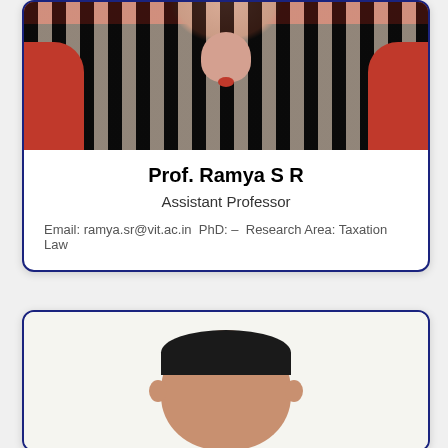[Figure (photo): Photo of Prof. Ramya S R — cropped upper body showing face/neck with striped black-and-white top and red jacket/shawl]
Prof. Ramya S R
Assistant Professor
Email: ramya.sr@vit.ac.in PhD: – Research Area: Taxation Law
[Figure (photo): Photo of a male faculty member — head and shoulders visible, dark hair, white background]